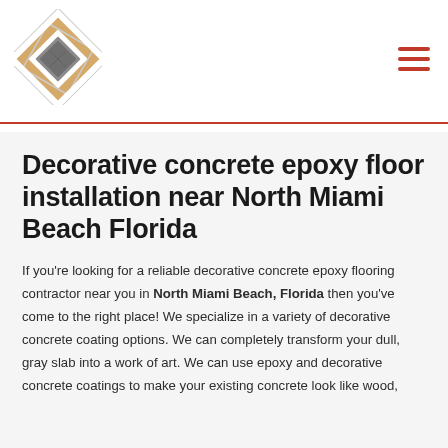[Figure (logo): Diamond-shaped flooring logo made of overlapping square photo frames showing wood and concrete floor samples]
Decorative concrete epoxy floor installation near North Miami Beach Florida
If you're looking for a reliable decorative concrete epoxy flooring contractor near you in North Miami Beach, Florida then you've come to the right place! We specialize in a variety of decorative concrete coating options. We can completely transform your dull, gray slab into a work of art. We can use epoxy and decorative concrete coatings to make your existing concrete look like wood,